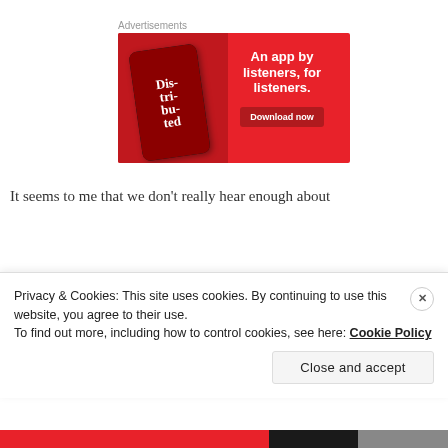Advertisements
[Figure (illustration): Red advertisement banner for a podcast app featuring a smartphone displaying 'Dis-tri-bu-ted' podcast episode, with text 'An app by listeners, for listeners.' and a 'Download now' button on red background.]
It seems to me that we don't really hear enough about
Privacy & Cookies: This site uses cookies. By continuing to use this website, you agree to their use.
To find out more, including how to control cookies, see here: Cookie Policy
Close and accept